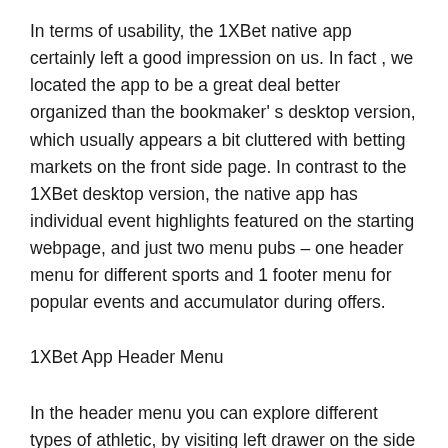In terms of usability, the 1XBet native app certainly left a good impression on us. In fact , we located the app to be a great deal better organized than the bookmaker' s desktop version, which usually appears a bit cluttered with betting markets on the front side page. In contrast to the 1XBet desktop version, the native app has individual event highlights featured on the starting webpage, and just two menu pubs – one header menu for different sports and 1 footer menu for popular events and accumulator during offers.
1XBet App Header Menu
In the header menu you can explore different types of athletic, by visiting left drawer on the side and